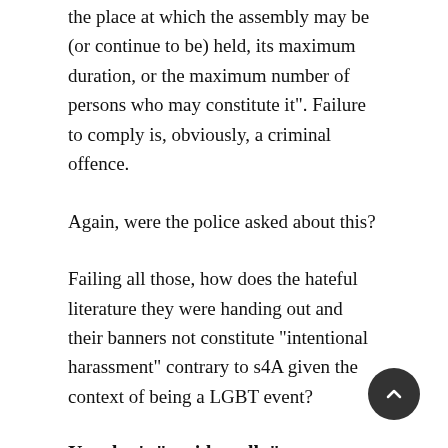the place at which the assembly may be (or continue to be) held, its maximum duration, or the maximum number of persons who may constitute it". Failure to comply is, obviously, a criminal offence.
Again, were the police asked about this?
Failing all those, how does the hateful literature they were handing out and their banners not constitute "intentional harassment" contrary to s4A given the context of being a LGBT event?
You don't "accidentally" not enforce a code of conduct when something like this happens
Someone – or more likely a bunch of someones makes the decision that it would be better to throw